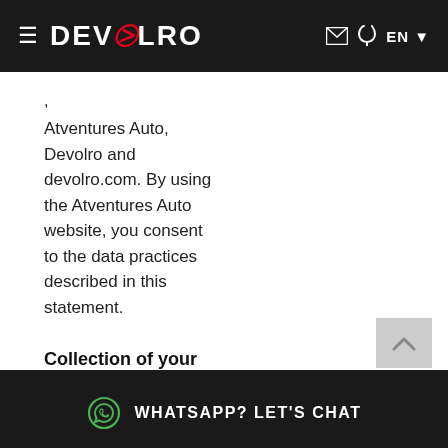DEVOLRO — EN
Atventures Auto, Devolro and devolro.com. By using the Atventures Auto website, you consent to the data practices described in this statement.
Collection of your Personal Information
WHATSAPP? LET'S CHAT